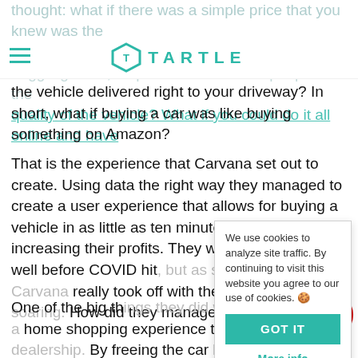TARTLE
thought: what if there was a simple price that you knew was the one it was actually worth? There isn't any haggling to do, no pressure from salespeople on the quality of the vehicle? What if you could do it all online and have the vehicle delivered right to your driveway? In short, what if buying a car was like buying something on Amazon?
That is the experience that Carvana set out to create. Using data the right way they managed to create a user experience that allows for buying a vehicle in as little as ten minutes while actually increasing their profits. They were already doing well before COVID hit, but as soon as it did, Carvana really took off with their stock price soaring. How did they manage to do this?
One of the big things they did was create more of a home shopping experience that eliminates the dealership. By removing the car lot, they avoid a lot of overhead costs as well as having, especially not having salespeople to pay. That helped save money by having one less person to try and take the customer out of the
We use cookies to analyze site traffic. By continuing to visit this website you agree to our use of cookies. 🍪
GOT IT
More info